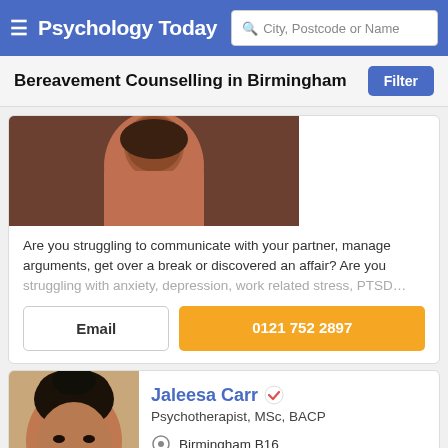Psychology Today — City, Postcode or Name search
Bereavement Counselling in Birmingham
[Figure (photo): Cropped profile photo of a therapist, dark background]
Are you struggling to communicate with your partner, manage arguments, get over a break or discovered an affair? Are you struggling with anxiety, depression, work related stress, PTSD…
Email | 0121 752 2897
[Figure (photo): Profile photo of Jaleesa Carr, a Black woman with hair in a bun, smiling, light blue top]
Jaleesa Carr
Psychotherapist, MSc, BACP
Birmingham B16
Offers online therapy